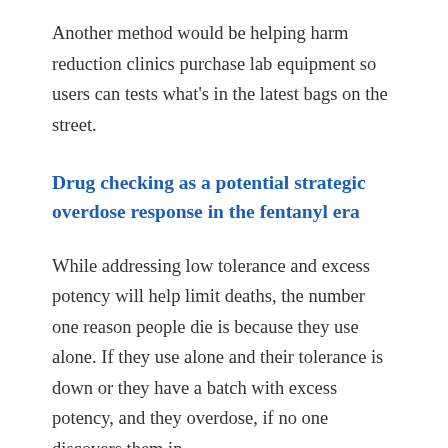Another method would be helping harm reduction clinics purchase lab equipment so users can tests what's in the latest bags on the street.
Drug checking as a potential strategic overdose response in the fentanyl era
While addressing low tolerance and excess potency will help limit deaths, the number one reason people die is because they use alone. If they use alone and their tolerance is down or they have a batch with excess potency, and they overdose, if no one discovers them in